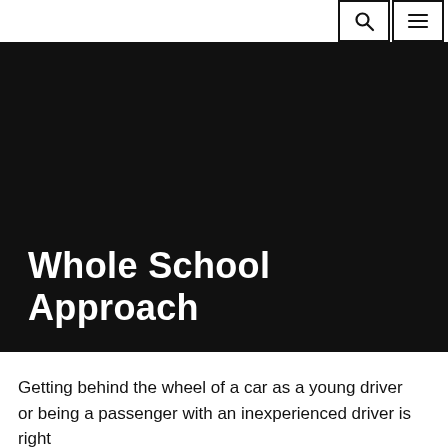[Search icon] [Menu icon]
Whole School Approach
Getting behind the wheel of a car as a young driver or being a passenger with an inexperienced driver is right